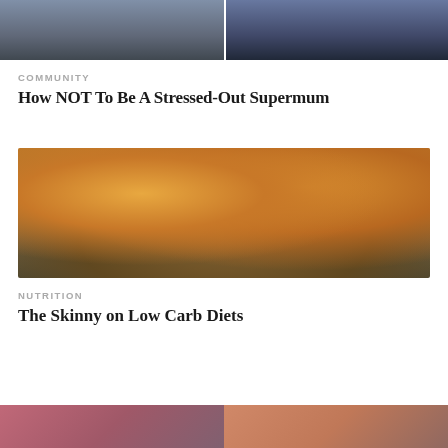[Figure (photo): Two-panel photo at top showing people, left panel with person in dark clothing, right panel with person near equipment against blue background]
COMMUNITY
How NOT To Be A Stressed-Out Supermum
[Figure (photo): Photo of bread rolls/buns on a wooden board, close-up showing golden-brown baked bread]
NUTRITION
The Skinny on Low Carb Diets
[Figure (photo): Two partial images at bottom of page, left showing pink/colorful items, right showing warm-toned image, both cropped]